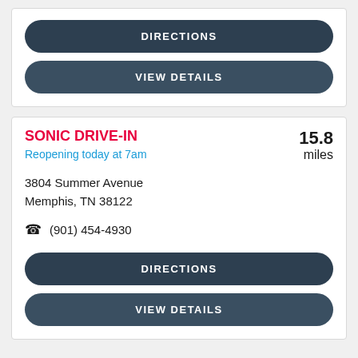DIRECTIONS
VIEW DETAILS
SONIC DRIVE-IN
Reopening today at 7am
15.8 miles
3804 Summer Avenue
Memphis, TN 38122
(901) 454-4930
DIRECTIONS
VIEW DETAILS